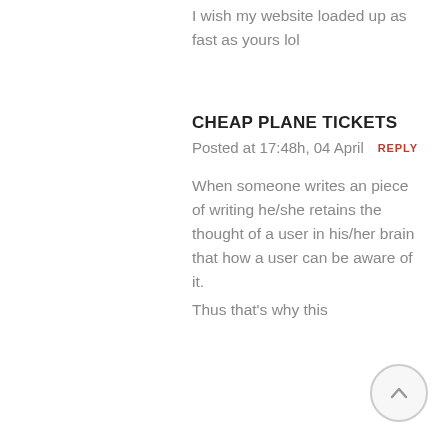I wish my website loaded up as fast as yours lol
CHEAP PLANE TICKETS
Posted at 17:48h, 04 April  REPLY
When someone writes an piece of writing he/she retains the thought of a user in his/her brain that how a user can be aware of it.
Thus that's why this